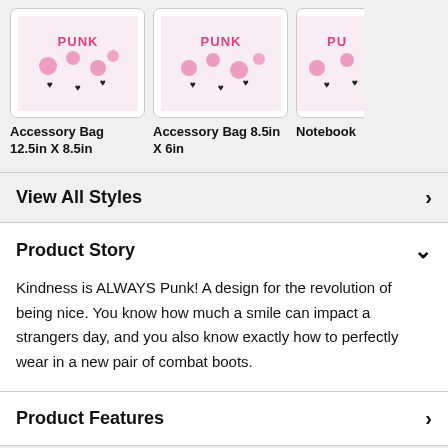[Figure (screenshot): Product cards showing accessory bags with pink punk design]
Accessory Bag 12.5in X 8.5in
Accessory Bag 8.5in X 6in
Notebook
View All Styles
Product Story
Kindness is ALWAYS Punk! A design for the revolution of being nice. You know how much a smile can impact a strangers day, and you also know exactly how to perfectly wear in a new pair of combat boots.
Product Features
Share With Friends